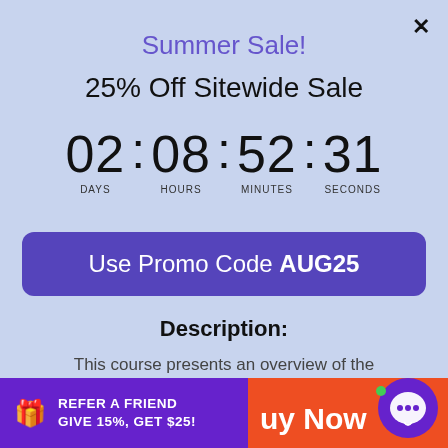Summer Sale!
25% Off Sitewide Sale
02 : 08 : 52 : 31 DAYS HOURS MINUTES SECONDS
Use Promo Code AUG25
Description:
This course presents an overview of the demographics, family dynamics, psychosocial and environmental factors, and tre Read More
REFER A FRIEND GIVE 15%, GET $25!
Buy Now